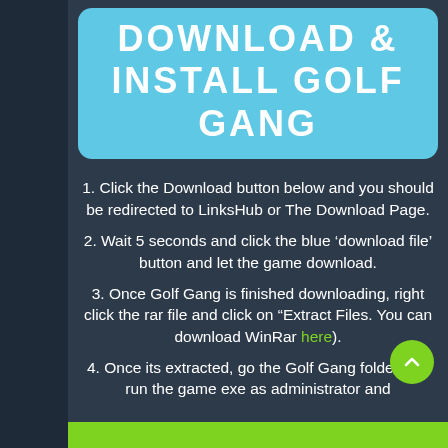DOWNLOAD & INSTALL GOLF GANG
1. Click the Download button below and you should be redirected to LinksHub or The Download Page.
2. Wait 5 seconds and click the blue ‘download file’ button and let the game download.
3. Once Golf Gang is finished downloading, right click the rar file and click on “Extract Files. You can download WinRar here).
4. Once its extracted, go the Golf Gang folder and run the game exe as administrator and